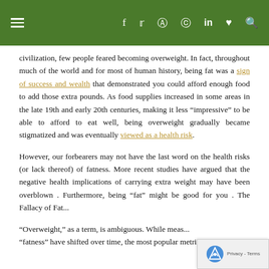Navigation bar with hamburger menu and social icons (Facebook, Twitter, Instagram, Pinterest, LinkedIn, Heart, Search) on green background
civilization, few people feared becoming overweight. In fact, throughout much of the world and for most of human history, being fat was a sign of success and wealth that demonstrated you could afford enough food to add those extra pounds. As food supplies increased in some areas in the late 19th and early 20th centuries, making it less “impressive” to be able to afford to eat well, being overweight gradually became stigmatized and was eventually viewed as a health risk.
However, our forbearers may not have the last word on the health risks (or lack thereof) of fatness. More recent studies have argued that the negative health implications of carrying extra weight may have been overblown . Furthermore, being “fat” might be good for you . The Fallacy of Fat...
“Overweight,” as a term, is ambiguous. While meas... “fatness” have shifted over time, the most popular metric...